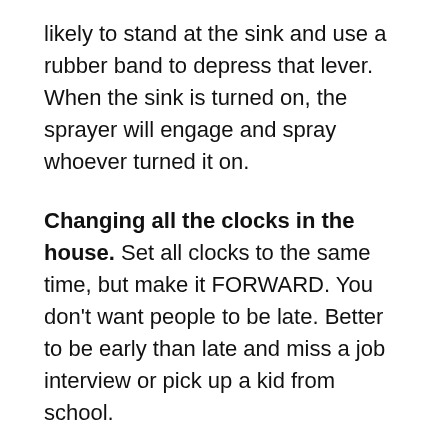likely to stand at the sink and use a rubber band to depress that lever. When the sink is turned on, the sprayer will engage and spray whoever turned it on.
Changing all the clocks in the house. Set all clocks to the same time, but make it FORWARD. You don’t want people to be late. Better to be early than late and miss a job interview or pick up a kid from school.
Pie in the face. This is not subtle or